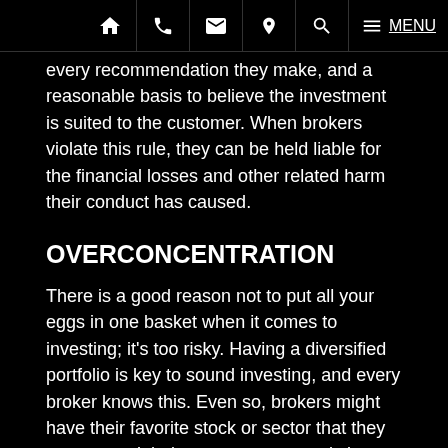Home | Phone | Email | Location | Search | MENU
every recommendation they make, and a reasonable basis to believe the investment is suited to the customer. When brokers violate this rule, they can be held liable for the financial losses and other related harm their conduct has caused.
OVERCONCENTRATION
There is a good reason not to put all your eggs in one basket when it comes to investing; it's too risky. Having a diversified portfolio is key to sound investing, and every broker knows this. Even so, brokers might have their favorite stock or sector that they recommend their customers to overly invest in, sometimes even against their firm's guidelines. Having too much invested in a single stock, a single sector, or a single asset class can be unsuitable for the investor. Even having too much invested in mutual funds can be harmful if the portfolio is